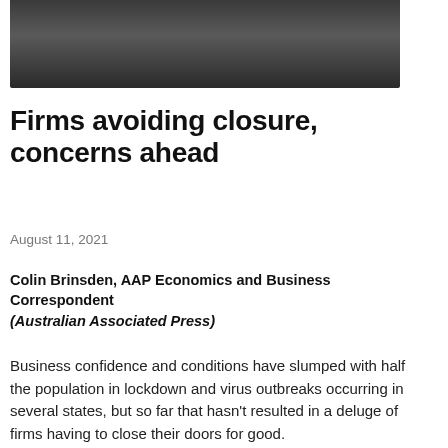[Figure (photo): Dark photograph of an interior or exterior scene, shown as a banner strip at the top of the page]
Firms avoiding closure, concerns ahead
August 11, 2021
Colin Brinsden, AAP Economics and Business Correspondent
(Australian Associated Press)
Business confidence and conditions have slumped with half the population in lockdown and virus outbreaks occurring in several states, but so far that hasn't resulted in a deluge of firms having to close their doors for good.